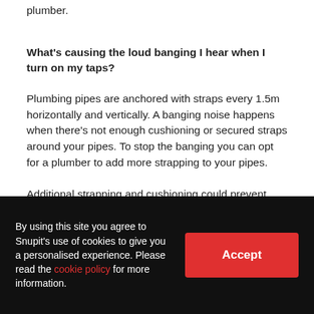plumber.
What's causing the loud banging I hear when I turn on my taps?
Plumbing pipes are anchored with straps every 1.5m horizontally and vertically. A banging noise happens when there's not enough cushioning or secured straps around your pipes. To stop the banging you can opt for a plumber to add more strapping to your pipes.
Additional strapping and cushioning could prevent wear on the pipes. It's advised that you leave room
By using this site you agree to Snupit's use of cookies to give you a personalised experience. Please read the cookie policy for more information.